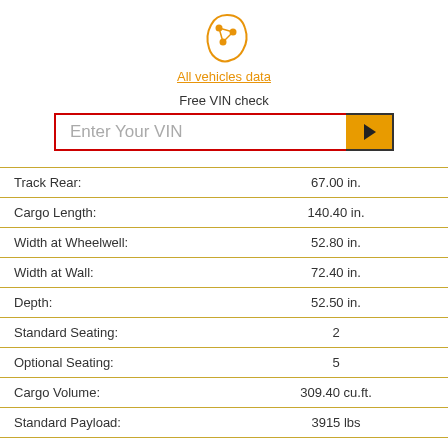[Figure (logo): All vehicles data logo with network/brain icon in orange]
Free VIN check
[Figure (screenshot): Enter Your VIN input field with red border and orange submit button]
| Track Rear: | 67.00 in. |
| Cargo Length: | 140.40 in. |
| Width at Wheelwell: | 52.80 in. |
| Width at Wall: | 72.40 in. |
| Depth: | 52.50 in. |
| Standard Seating: | 2 |
| Optional Seating: | 5 |
| Cargo Volume: | 309.40 cu.ft. |
| Standard Payload: | 3915 lbs |
| Maximum Payload: | 3915 lbs |